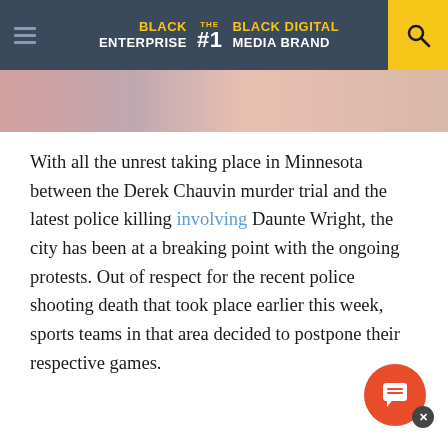BLACK ENTERPRISE THE #1 BLACK DIGITAL MEDIA BRAND
[Figure (photo): Partial photo strip showing people, cropped at top of article]
With all the unrest taking place in Minnesota between the Derek Chauvin murder trial and the latest police killing involving Daunte Wright, the city has been at a breaking point with the ongoing protests. Out of respect for the recent police shooting death that took place earlier this week, sports teams in that area decided to postpone their respective games.